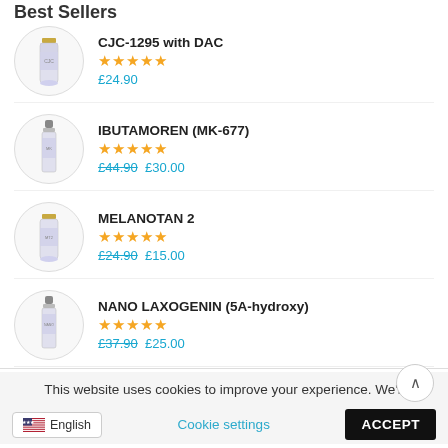Best Sellers
CJC-1295 with DAC
★★★★★
£24.90
IBUTAMOREN (MK-677)
★★★★★
£44.90  £30.00
MELANOTAN 2
★★★★★
£24.90  £15.00
NANO LAXOGENIN (5A-hydroxy)
★★★★★
£37.90  £25.00
This website uses cookies to improve your experience. We'll assume you're ok with this, but you can opt-out if you
Cookie settings   ACCEPT   English